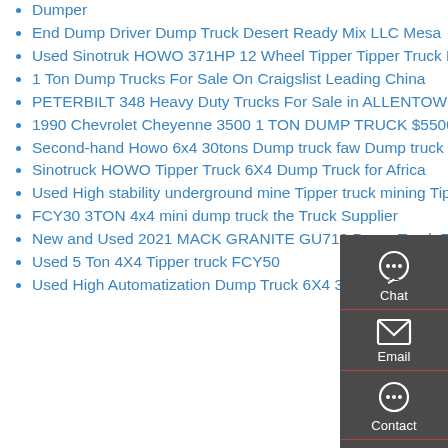Dumper
End Dump Driver Dump Truck Desert Ready Mix LLC Mesa
Used Sinotruk HOWO 371HP 12 Wheel Tipper Tipper Truck Price
1 Ton Dump Trucks For Sale On Craigslist Leading China
PETERBILT 348 Heavy Duty Trucks For Sale in ALLENTOWN
1990 Chevrolet Cheyenne 3500 1 TON DUMP TRUCK $5500
Second-hand Howo 6x4 30tons Dump truck faw Dump truck
Sinotruck HOWO Tipper Truck 6X4 Dump Truck for Africa
Used High stability underground mine Tipper truck mining TippererÂ
FCY30 3TON 4x4 mini dump truck the Truck Supplier
New and Used 2021 MACK GRANITE GU713 Dump Truck For
Used 5 Ton 4X4 Tipper truck FCY50
Used High Automatization Dump Truck 6X4 336HP In